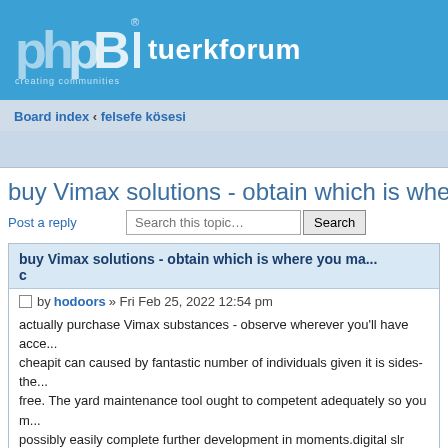[Figure (logo): phpBB logo with 'creating communities' tagline and site name 'tuerkforum' on blue background]
Board index ‹ felsefe kösesi
buy Vimax solutions - obtain which is where you ma... c
Post a reply
Post  by hodoors » Fri Feb 25, 2022 12:54 pm

actually purchase Vimax substances - observe wherever you'll have acce... cheapit can caused by fantastic number of individuals given it is sides-the... free. The yard maintenance tool ought to competent adequately so you m... possibly easily complete further development in moments.digital slr came... feedback, canon dslr, embroidered texas boys, canon cameraFor all you'... confident you know, They are wholesale jerseys2022 very in danger click... of computer virus, problems, or spyware and adware. an additional Cana... Manning could possibly be an an affiliate three NLL world-class internet ...